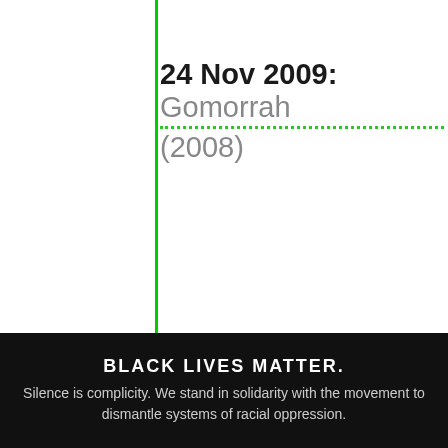[Figure (illustration): Repeating pattern of small cute robot/emoji icons in black and blue on white background, arranged in rows across the full page content area]
24 Nov 2009: Gomorrah (2008)
Dec 2009: Che (2008)
2010: Everlasting Moments (2008)
2010: Summer Hours
BLACK LIVES MATTER. Silence is complicity. We stand in solidarity with the movement to dismantle systems of racial oppression.